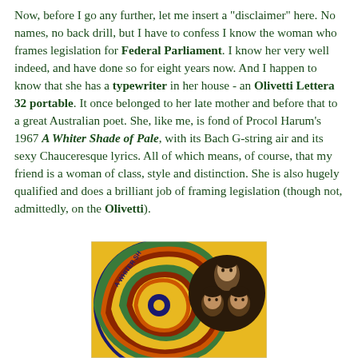Now, before I go any further, let me insert a "disclaimer" here. No names, no back drill, but I have to confess I know the woman who frames legislation for Federal Parliament. I know her very well indeed, and have done so for eight years now. And I happen to know that she has a typewriter in her house - an Olivetti Lettera 32 portable. It once belonged to her late mother and before that to a great Australian poet. She, like me, is fond of Procol Harum's 1967 A Whiter Shade of Pale, with its Bach G-string air and its sexy Chauceresque lyrics. All of which means, of course, that my friend is a woman of class, style and distinction. She is also hugely qualified and does a brilliant job of framing legislation (though not, admittedly, on the Olivetti).
[Figure (photo): Album cover for Procol Harum's A Whiter Shade of Pale (1967) - colorful psychedelic swirl design in yellow, green, red, orange and dark blue/purple with band members' faces on the right side and text 'A WHITER SH...' and 'PROC...' visible]